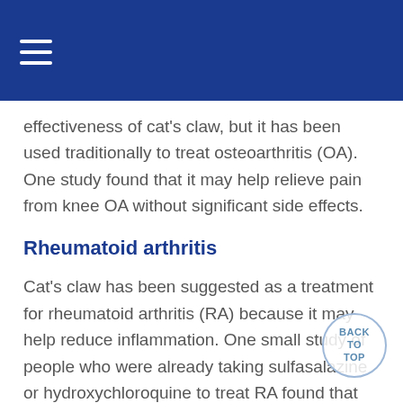effectiveness of cat's claw, but it has been used traditionally to treat osteoarthritis (OA). One study found that it may help relieve pain from knee OA without significant side effects.
Rheumatoid arthritis
Cat's claw has been suggested as a treatment for rheumatoid arthritis (RA) because it may help reduce inflammation. One small study of people who were already taking sulfasalazine or hydroxychloroquine to treat RA found that those who also took cat's claw had fewer painful, swollen joints than those who took a placebo (dummy pill). But although cat's claw may help reduce inflammation, there is no evidence to show that it